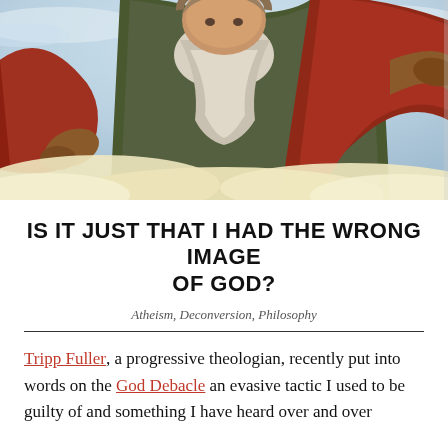[Figure (illustration): Classical religious oil painting showing a bearded elderly figure (God) in red and green robes, arms outstretched, surrounded by clouds. The figure is viewed from the chest up against a sky background.]
IS IT JUST THAT I HAD THE WRONG IMAGE OF GOD?
Atheism, Deconversion, Philosophy
Tripp Fuller, a progressive theologian, recently put into words on the God Debacle an evasive tactic I used to be guilty of and something I have heard over and over